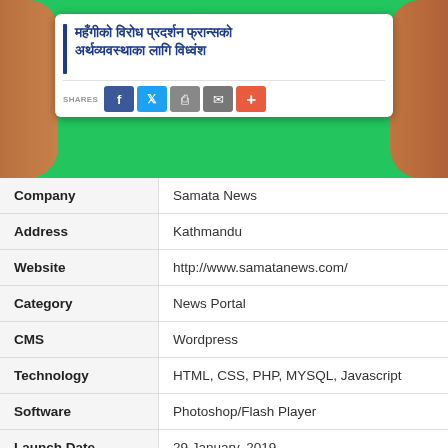[Figure (screenshot): Screenshot of a Nepali news article on a smartphone held by hands against a green background, with social sharing buttons (Facebook, Twitter, Print, Email, Plus)]
| Company | Samata News |
| Address | Kathmandu |
| Website | http://www.samatanews.com/ |
| Category | News Portal |
| CMS | Wordpress |
| Technology | HTML, CSS, PHP, MYSQL, Javascript |
| Software | Photoshop/Flash Player |
| Launch Date | 29 January, 2019 |
| Status | ✔ Running |